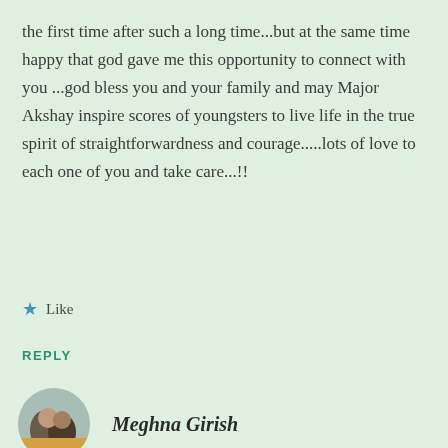the first time after such a long time...but at the same time happy that god gave me this opportunity to connect with you ...god bless you and your family and may Major Akshay inspire scores of youngsters to live life in the true spirit of straightforwardness and courage.....lots of love to each one of you and take care...!!
Like
REPLY
Meghna Girish
DECEMBER 15, 2016 AT 5:21 AM